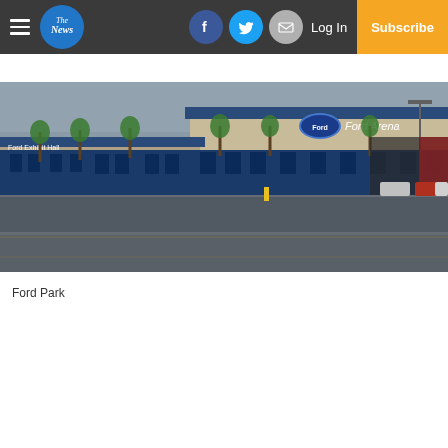The News | Log In | Subscribe | social icons
[Figure (photo): Exterior photo of Ford Park / Ford Arena with a wet parking lot in the foreground. Palm trees line the front of the large arena building with 'Ford Arena' signage. Overcast sky.]
Ford Park